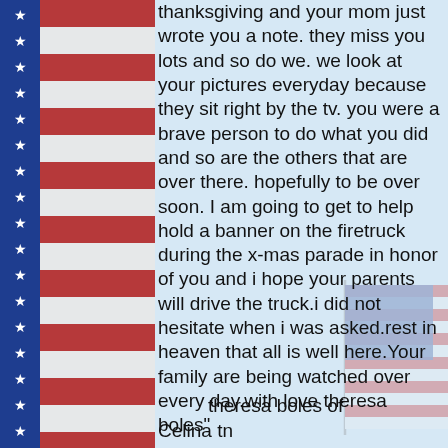[Figure (illustration): Patriotic American flag border strip on the left side with alternating blue (with white stars), red, and white stripes running vertically]
[Figure (illustration): Faded/watermark American flag with pole in the background on the right side]
thanksgiving and your mom just wrote you a note. they miss you lots and so do we. we look at your pictures everyday because they sit right by the tv. you were a brave person to do what you did and so are the others that are over there. hopefully to be over soon. I am going to get to help hold a banner on the firetruck during the x-mas parade in honor of you and i hope your parents will drive the truck.i did not hesitate when i was asked.rest in heaven that all is well here.Your family are being watched over every day.with love theresa boles"
theresa boles of Celina tn